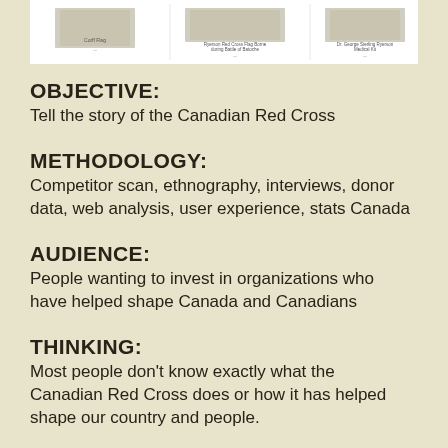[Figure (illustration): Top strip showing three museum exhibit images: Corff Flag, Ryerson Red Cross Flag Borne during Battle of Batoche, Dr. George Sterling Ryerson Medical Kit]
OBJECTIVE:
Tell the story of the Canadian Red Cross
METHODOLOGY:
Competitor scan, ethnography, interviews, donor data, web analysis, user experience, stats Canada
AUDIENCE:
People wanting to invest in organizations who have helped shape Canada and Canadians
THINKING:
Most people don't know exactly what the Canadian Red Cross does or how it has helped shape our country and people.